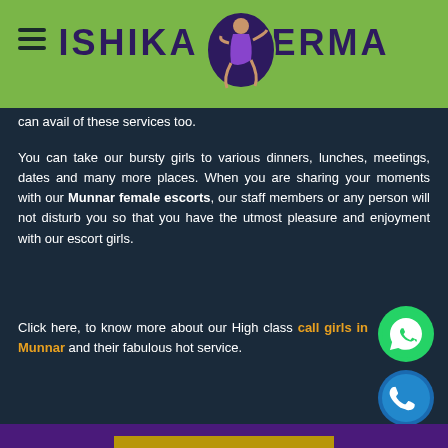ISHIKA VERMA
can avail of these services too.
You can take our bursty girls to various dinners, lunches, meetings, dates and many more places. When you are sharing your moments with our Munnar female escorts, our staff members or any person will not disturb you so that you have the utmost pleasure and enjoyment with our escort girls.
Click here, to know more about our High class call girls in Munnar and their fabulous hot service.